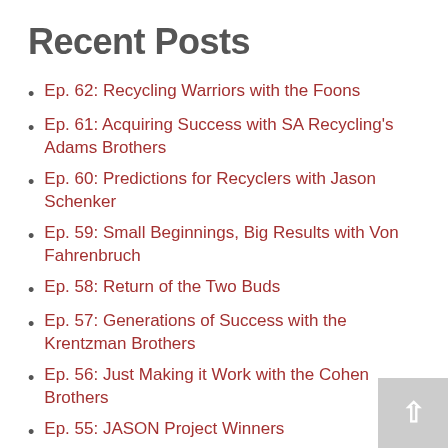Recent Posts
Ep. 62: Recycling Warriors with the Foons
Ep. 61: Acquiring Success with SA Recycling's Adams Brothers
Ep. 60: Predictions for Recyclers with Jason Schenker
Ep. 59: Small Beginnings, Big Results with Von Fahrenbruch
Ep. 58: Return of the Two Buds
Ep. 57: Generations of Success with the Krentzman Brothers
Ep. 56: Just Making it Work with the Cohen Brothers
Ep. 55: JASON Project Winners
Ep. 54: No Borders in Recycling with Tom Bird